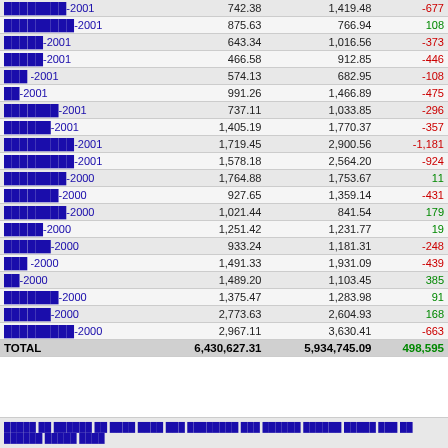| Name | Col1 | Col2 | Diff |
| --- | --- | --- | --- |
| ████████-2001 | 742.38 | 1,419.48 | -677 |
| █████████-2001 | 875.63 | 766.94 | 108 |
| █████-2001 | 643.34 | 1,016.56 | -373 |
| █████-2001 | 466.58 | 912.85 | -446 |
| ███ -2001 | 574.13 | 682.95 | -108 |
| ██-2001 | 991.26 | 1,466.89 | -475 |
| ███████-2001 | 737.11 | 1,033.85 | -296 |
| ██████-2001 | 1,405.19 | 1,770.37 | -357 |
| █████████-2001 | 1,719.45 | 2,900.56 | -1,181 |
| █████████-2001 | 1,578.18 | 2,564.20 | -924 |
| ████████-2000 | 1,764.88 | 1,753.67 | 11 |
| ███████-2000 | 927.65 | 1,359.14 | -431 |
| ████████-2000 | 1,021.44 | 841.54 | 179 |
| █████-2000 | 1,251.42 | 1,231.77 | 19 |
| ██████-2000 | 933.24 | 1,181.31 | -248 |
| ███ -2000 | 1,491.33 | 1,931.09 | -439 |
| ██-2000 | 1,489.20 | 1,103.45 | 385 |
| ███████-2000 | 1,375.47 | 1,283.98 | 91 |
| ██████-2000 | 2,773.63 | 2,604.93 | 168 |
| █████████-2000 | 2,967.11 | 3,630.41 | -663 |
| TOTAL | 6,430,627.31 | 5,934,745.09 | 498,595 |
█████ ██ ██████ ██ ████ ████ ███ ████████ ███ ██████ ██████ █████ ███ ██ ██████ █████ ████